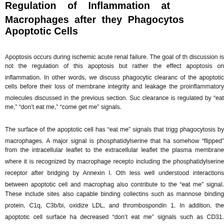Regulation of Inflammation at Macrophages after they Phagocytose Apoptotic Cells
Apoptosis occurs during ischemic acute renal failure. The goal of this discussion is not the regulation of this apoptosis but rather the effect of apoptosis on inflammation. In other words, we discuss phagocytic clearance of the apoptotic cells before their loss of membrane integrity and leakage of the proinflammatory molecules discussed in the previous section. Such clearance is regulated by “eat me,” “don’t eat me,” “come get me” signals.
The surface of the apoptotic cell has “eat me” signals that trigger phagocytosis by macrophages. A major signal is phosphatidylserine that has somehow “flipped” from the intracellular leaflet to the extracellular leaflet of the plasma membrane where it is recognized by macrophage receptors including the phosphatidylserine receptor after bridging by Annexin I. Other less well understood interactions between apoptotic cell and macrophage also contribute to the “eat me” signal. These include sites also capable of binding collectins such as mannose binding protein, C1q, C3b/bi, oxidized LDL, and thrombospondin 1. In addition, the apoptotic cell surface has decreased “don’t eat me” signals such as CD31. Furthermore, phosphatidylcholine on apoptotic cell surfaces is cleaved by phospholipase A2 to form lysophosphatidyl choline which is the best understood chemoattractant “come get me” signal issued by apoptotic cells.